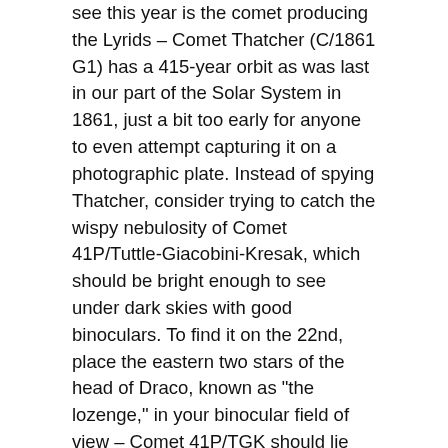see this year is the comet producing the Lyrids – Comet Thatcher (C/1861 G1) has a 415-year orbit as was last in our part of the Solar System in 1861, just a bit too early for anyone to even attempt capturing it on a photographic plate. Instead of spying Thatcher, consider trying to catch the wispy nebulosity of Comet 41P/Tuttle-Giacobini-Kresak, which should be bright enough to see under dark skies with good binoculars. To find it on the 22nd, place the eastern two stars of the head of Draco, known as "the lozenge," in your binocular field of view – Comet 41P/TGK should lie just towards the center.
To optimize your Lyrid experience, lie flat on the ground with your feet pointed towards Lyra and your head elevated – meteors will then appear to fly right over and around you. Counts and brightness tend to increase the later you stay out, with peak observing times usually between 1 a.m. and 5...